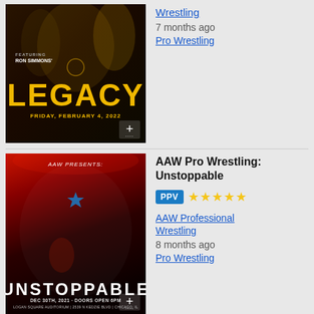[Figure (photo): AAW Legacy wrestling event poster featuring Ron Simmons, FRIDAY, FEBRUARY 4, 2022, with golden 'LEGACY' text]
Wrestling
7 months ago
Pro Wrestling
[Figure (photo): AAW Pro Wrestling: Unstoppable event poster, DEC 30TH, 2021, Logan Square Auditorium, Chicago, IL, with wrestlers]
AAW Pro Wrestling: Unstoppable
PPV ★★★★★
AAW Professional Wrestling
8 months ago
Pro Wrestling